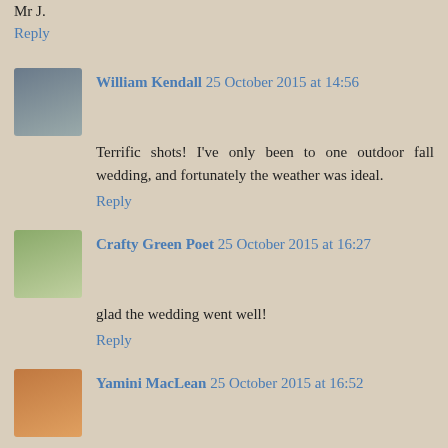Mr J.
Reply
William Kendall 25 October 2015 at 14:56
Terrific shots! I've only been to one outdoor fall wedding, and fortunately the weather was ideal.
Reply
Crafty Green Poet 25 October 2015 at 16:27
glad the wedding went well!
Reply
Yamini MacLean 25 October 2015 at 16:52
Hari OM
Aside from the sprinkling for the ceremony, all looks joyous and fun and everything it ought to be! YAM xx